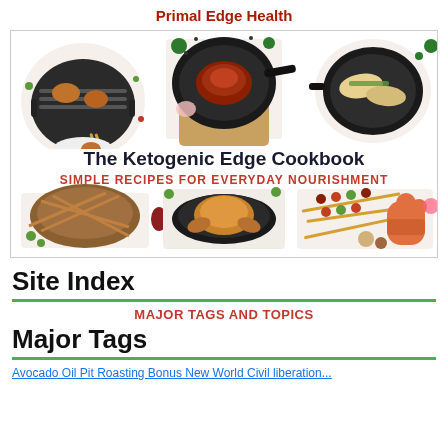Primal Edge Health
[Figure (illustration): Book cover image for 'The Ketogenic Edge Cookbook: Simple Recipes for Everyday Nourishment' showing six food photos (grilled chicken on BBQ, steak in cast iron skillet, fish in pan, braised meat in casserole dish, roasted whole chicken, and kabobs with oven mitt) arranged in a grid with the book title in the center.]
Site Index
MAJOR TAGS AND TOPICS
Major Tags
Avocado Oil Pit Roasting Bonus New World Civil liberation...